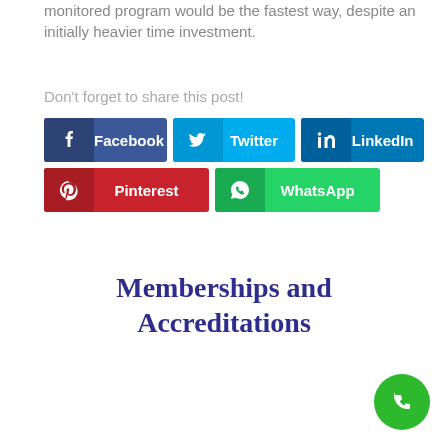monitored program would be the fastest way, despite an initially heavier time investment.
Don't forget to share this post!
[Figure (infographic): Social share buttons: Facebook (blue), Twitter (cyan), LinkedIn (dark blue), Pinterest (red), WhatsApp (green)]
Memberships and Accreditations
[Figure (infographic): Green phone call button (circular) in bottom right corner]